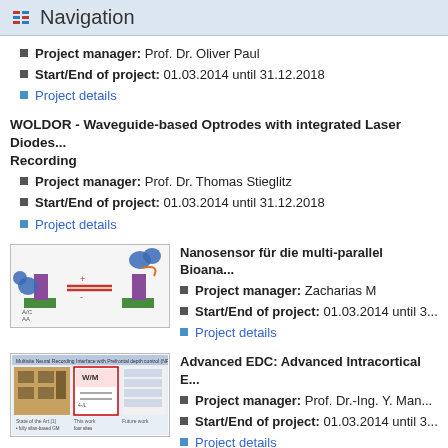Navigation
Project manager: Prof. Dr. Oliver Paul
Start/End of project: 01.03.2014 until 31.12.2018
Project details
WOLDOR - Waveguide-based Optrodes with integrated Laser Diodes... Recording
Project manager: Prof. Dr. Thomas Stieglitz
Start/End of project: 01.03.2014 until 31.12.2018
Project details
[Figure (illustration): Diagram showing nanosensor molecular interaction concept with colored figures]
Nanosensor für die multi-parallel Bioana...
Project manager: Zacharias M
Start/End of project: 01.03.2014 until 3...
Project details
[Figure (screenshot): Multisite Neural Recording Interface with Prefrontal depth control diagram]
Advanced EDC: Advanced Intracortical E...
Project manager: Prof. Dr.-Ing. Y. Man...
Start/End of project: 01.03.2014 until 3...
Project details
BFEM - Bericht über...